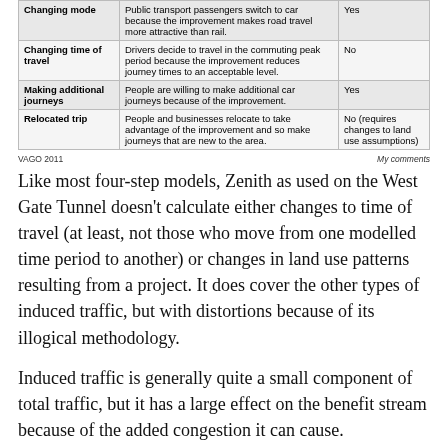| Description | Example | Zenith captures? |
| --- | --- | --- |
| Changing mode | Public transport passengers switch to car because the improvement makes road travel more attractive than rail. | Yes |
| Changing time of travel | Drivers decide to travel in the commuting peak period because the improvement reduces journey times to an acceptable level. | No |
| Making additional journeys | People are willing to make additional car journeys because of the improvement. | Yes |
| Relocated trip | People and businesses relocate to take advantage of the improvement and so make journeys that are new to the area. | No (requires changes to land use assumptions) |
VAGO 2011                                                      My comments
Like most four-step models, Zenith as used on the West Gate Tunnel doesn't calculate either changes to time of travel (at least, not those who move from one modelled time period to another) or changes in land use patterns resulting from a project. It does cover the other types of induced traffic, but with distortions because of its illogical methodology.
Induced traffic is generally quite a small component of total traffic, but it has a large effect on the benefit stream because of the added congestion it can cause.
The business case explains how induced traffic was